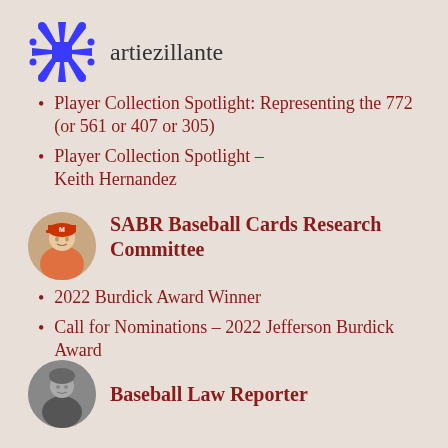[Figure (logo): Blue snowflake/star-shaped avatar for artiezillante]
artiezillante
Player Collection Spotlight: Representing the 772 (or 561 or 407 or 305)
Player Collection Spotlight – Keith Hernandez
[Figure (photo): Circular avatar photo of a baseball player in orange/red uniform with M cap]
SABR Baseball Cards Research Committee
2022 Burdick Award Winner
Call for Nominations – 2022 Jefferson Burdick Award
[Figure (photo): Circular black and white avatar photo for Baseball Law Reporter]